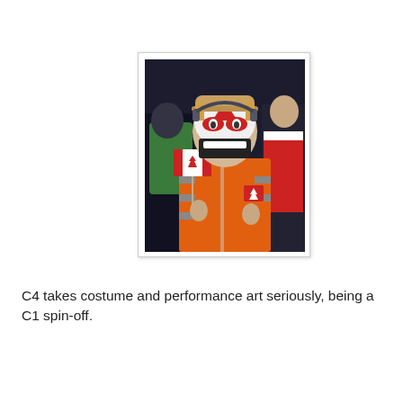[Figure (photo): A person with face paint styled as a Canadian maple leaf, wearing an orange jacket with a maple leaf patch, holding a small Canadian flag on a stick. The background shows other people in a crowd.]
C4 takes costume and performance art seriously, being a C1 spin-off.